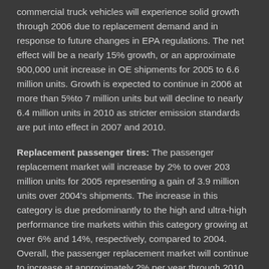commercial truck vehicles will experience solid growth through 2006 due to replacement demand and in response to future changes in EPA regulations. The net effect will be a nearly 15% growth, or an approximate 900,000 unit increase in OE shipments for 2005 to 6.6 million units. Growth is expected to continue in 2006 at more than 5%to 7 million units but will decline to nearly 6.4 million units in 2010 as stricter emission standards are put into effect in 2007 and 2010.
Replacement passenger tires: The passenger replacement market will increase by 2% to over 203 million units for 2005 representing a gain of 3.9 million units over 2004's shipments. The increase in this category is due predominantly to the high and ultra-high performance tire markets within this category growing at over 6% and 14%, respectively, compared to 2004. Overall, the passenger replacement market will continue to increase at approximately 2% per year through 2010, at which point the total units shipped will approach 225 million. Steady growth